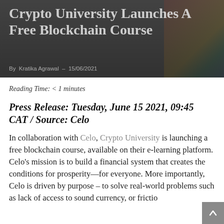[Figure (photo): Hero banner image with colorful pencils in the background, overlaid with dark semi-transparent gradient. Shows article header area.]
Crypto University Launches A Free Blockchain Course
By Kratika Agrawal - 15/06/2021
Reading Time: < 1 minutes
Press Release: Tuesday, June 15 2021, 09:45 CAT / Source: Celo
In collaboration with Celo, Crypto University is launching a free blockchain course, available on their e-learning platform. Celo's mission is to build a financial system that creates the conditions for prosperity—for everyone. More importantly, Celo is driven by purpose – to solve real-world problems such as lack of access to sound currency, or frictio